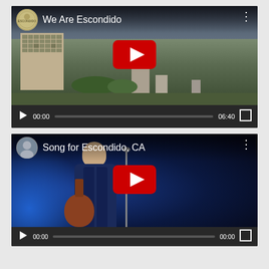[Figure (screenshot): YouTube video player thumbnail for 'We Are Escondido' showing aerial view of city with buildings and city seal icon, time 00:00 / 06:40]
[Figure (screenshot): YouTube video player thumbnail for 'Song for Escondido, CA' showing a performer playing guitar on stage with blue stage lighting, partially cut off at bottom]